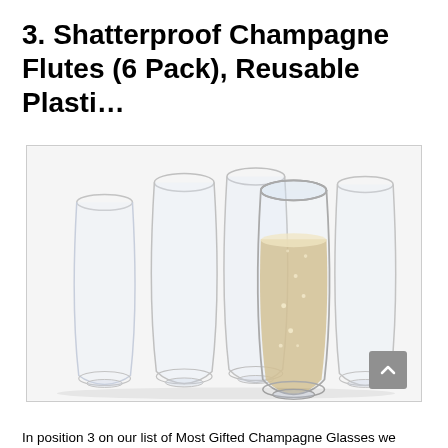3. Shatterproof Champagne Flutes (6 Pack), Reusable Plasti…
[Figure (photo): Six clear stemless champagne flute glasses arranged together, one filled with champagne/sparkling wine showing bubbles, rest empty. White background product photo.]
In position 3 on our list of Most Gifted Champagne Glasses we